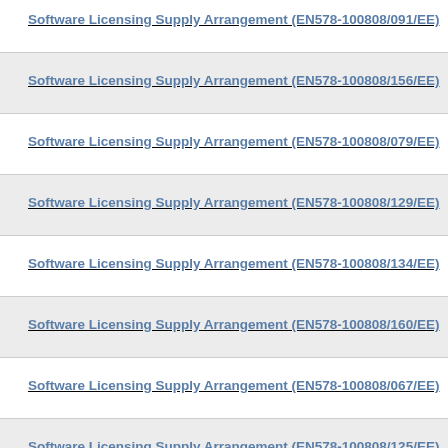Software Licensing Supply Arrangement (EN578-100808/091/EE)
Software Licensing Supply Arrangement (EN578-100808/156/EE)
Software Licensing Supply Arrangement (EN578-100808/079/EE)
Software Licensing Supply Arrangement (EN578-100808/129/EE)
Software Licensing Supply Arrangement (EN578-100808/134/EE)
Software Licensing Supply Arrangement (EN578-100808/160/EE)
Software Licensing Supply Arrangement (EN578-100808/067/EE)
Software Licensing Supply Arrangement (EN578-100808/125/EE)
Software Licensing Supply Arrangement (EN578-100808/040/EE)
Software Licensing Supply Arrangement (EN578-100808/080/EE)